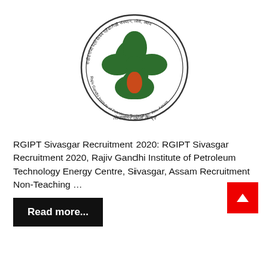[Figure (logo): RGIPT (Rajiv Gandhi Institute of Petroleum Technology) circular logo with a four-leaf clover/flower design in green and an orange oil drop at the bottom center, surrounded by text in Hindi and English around the border]
RGIPT Sivasgar Recruitment 2020: RGIPT Sivasgar Recruitment 2020, Rajiv Gandhi Institute of Petroleum Technology Energy Centre, Sivasgar, Assam Recruitment Non-Teaching …
Read more...